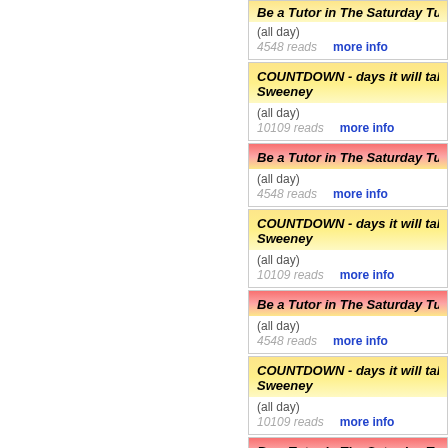Be a Tutor in The Saturday Tutoring Pr... (all day) 4548 reads more info
COUNTDOWN - days it will take to get ... Sweeney (all day) 10109 reads more info
Be a Tutor in The Saturday Tutoring Pr... (all day) 4548 reads more info
COUNTDOWN - days it will take to get ... Sweeney (all day) 10109 reads more info
Be a Tutor in The Saturday Tutoring Pr... (all day) 4548 reads more info
COUNTDOWN - days it will take to get ... Sweeney (all day) 10109 reads more info
Be a Tutor in The Saturday Tutoring Pr... (all day) 4548 reads more info
COUNTDOWN - days it will take to get ...